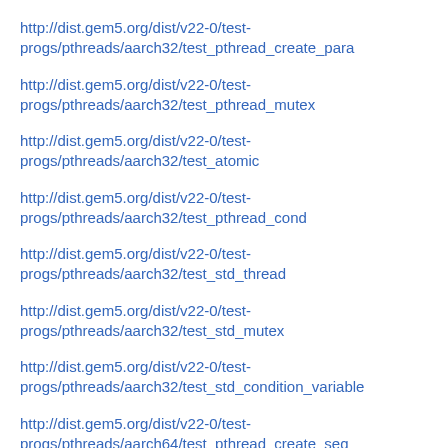http://dist.gem5.org/dist/v22-0/test-progs/pthreads/aarch32/test_pthread_create_para
http://dist.gem5.org/dist/v22-0/test-progs/pthreads/aarch32/test_pthread_mutex
http://dist.gem5.org/dist/v22-0/test-progs/pthreads/aarch32/test_atomic
http://dist.gem5.org/dist/v22-0/test-progs/pthreads/aarch32/test_pthread_cond
http://dist.gem5.org/dist/v22-0/test-progs/pthreads/aarch32/test_std_thread
http://dist.gem5.org/dist/v22-0/test-progs/pthreads/aarch32/test_std_mutex
http://dist.gem5.org/dist/v22-0/test-progs/pthreads/aarch32/test_std_condition_variable
http://dist.gem5.org/dist/v22-0/test-progs/pthreads/aarch64/test_pthread_create_seq
http://dist.gem5.org/dist/v22-0/test-